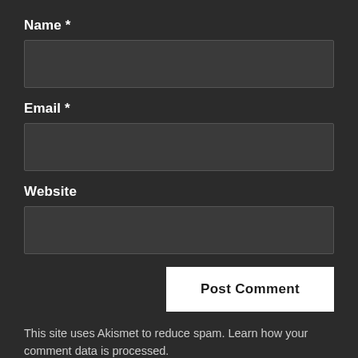Name *
[Figure (other): Name input field (empty text box)]
Email *
[Figure (other): Email input field (empty text box)]
Website
[Figure (other): Website input field (empty text box)]
Post Comment
This site uses Akismet to reduce spam. Learn how your comment data is processed.